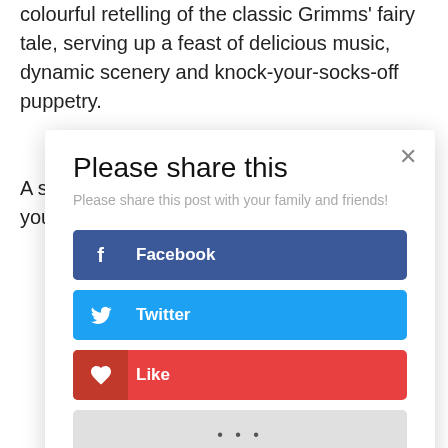colourful retelling of the classic Grimms' fairy tale, serving up a feast of delicious music, dynamic scenery and knock-your-socks-off puppetry.
A show to tickle your eyes, your ears, and your tas…
[Figure (screenshot): Social sharing modal dialog with 'Please share this' heading, subtitle 'Please share this post with your family and friends!', and three share buttons: Facebook (dark blue), Twitter (light blue), Like (red), and a grey 'more' button with ellipsis. There is an X close button in the top right corner.]